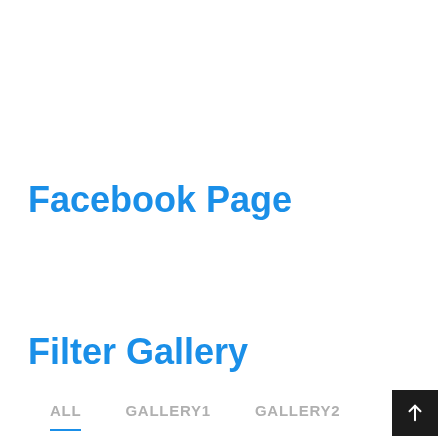Facebook Page
Filter Gallery
ALL
GALLERY1
GALLERY2